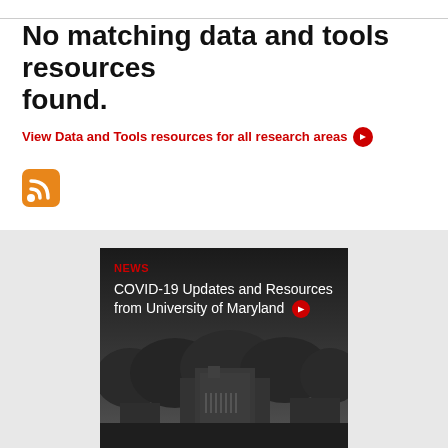No matching data and tools resources found.
View Data and Tools resources for all research areas →
[Figure (logo): RSS feed icon — orange rounded square with white RSS signal symbol]
[Figure (photo): Black and white aerial photo of University of Maryland campus with trees and buildings. Overlaid text reads: NEWS (in red) / COVID-19 Updates and Resources from University of Maryland (with red arrow circle)]